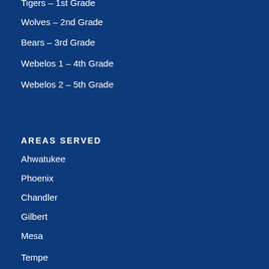Tigers – 1st Grade
Wolves – 2nd Grade
Bears – 3rd Grade
Webelos 1 – 4th Grade
Webelos 2 – 5th Grade
AREAS SERVED
Ahwatukee
Phoenix
Chandler
Gilbert
Mesa
Tempe